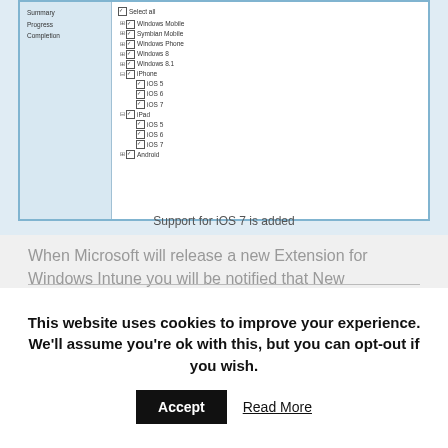[Figure (screenshot): Windows dialog screenshot showing a tree-list of mobile platforms with checkboxes. Items include Windows Mobile, Symbian Mobile, Windows Phone, Windows 8, Windows 8.1, iPhone (with sub-items iOS 5, iOS 6, iOS 7), iPad (with sub-items iOS 5, iOS 6, iOS 7), and Android. All items are checked.]
Support for iOS 7 is added
When Microsoft will release a new Extension for Windows Intune you will be notified that New Extensions are available and can be enabled within Configuration Manager like shown below.
This website uses cookies to improve your experience. We'll assume you're ok with this, but you can opt-out if you wish. Accept Read More